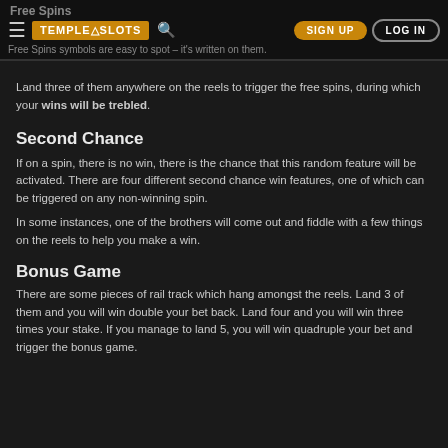Free Spins | TEMPLE SLOTS | SIGN UP | LOG IN
Free Spins symbols are easy to spot – it's written on them.
Land three of them anywhere on the reels to trigger the free spins, during which your wins will be trebled.
Second Chance
If on a spin, there is no win, there is the chance that this random feature will be activated. There are four different second chance win features, one of which can be triggered on any non-winning spin.
In some instances, one of the brothers will come out and fiddle with a few things on the reels to help you make a win.
Bonus Game
There are some pieces of rail track which hang amongst the reels. Land 3 of them and you will win double your bet back. Land four and you will win three times your stake. If you manage to land 5, you will win quadruple your bet and trigger the bonus game.